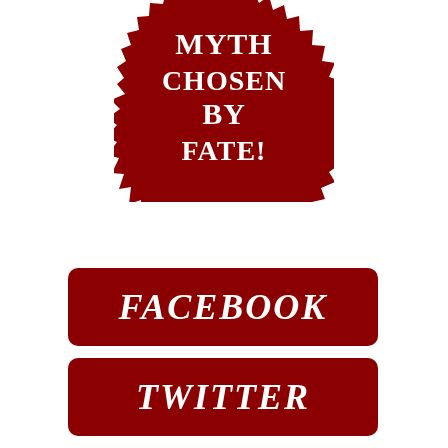[Figure (illustration): Dark red starburst/seal shape with white text reading MYTH CHOSEN BY FATE!]
FACEBOOK
TWITTER
YOUTUBE